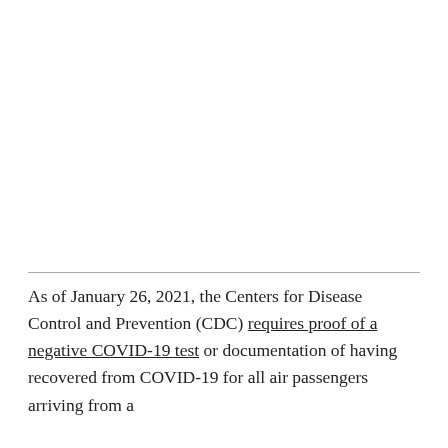As of January 26, 2021, the Centers for Disease Control and Prevention (CDC) requires proof of a negative COVID-19 test or documentation of having recovered from COVID-19 for all air passengers arriving from a